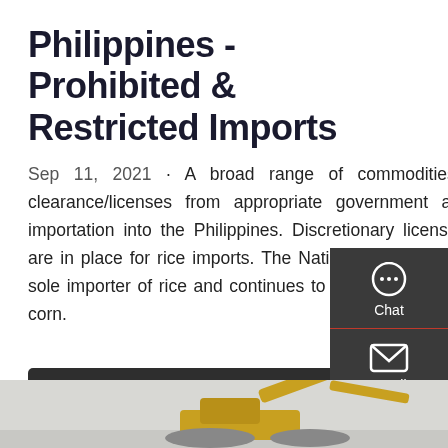Philippines - Prohibited & Restricted Imports
Sep 11, 2021 · A broad range of commodities require import clearance/licenses from appropriate government agencies prior to importation into the Philippines. Discretionary licensing arrangements are in place for rice imports. The National Food Authority (NFA) is the sole importer of rice and continues to be involved in the importation of corn.
[Figure (screenshot): Dark side panel with Chat, Email, and Contact icons on right side of page]
[Figure (photo): Partial photo of a yellow construction excavator at the bottom of the page]
Get a Quote